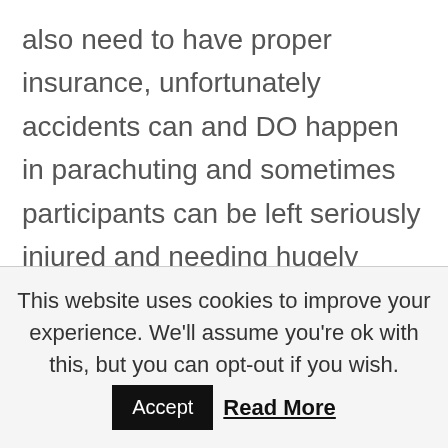also need to have proper insurance, unfortunately accidents can and DO happen in parachuting and sometimes participants can be left seriously injured and needing hugely expensive medical care and repatriation. Check out the skydiving travel insurance link HERE for some great deals on a specific policy for your needs
This website uses cookies to improve your experience. We'll assume you're ok with this, but you can opt-out if you wish. Accept Read More